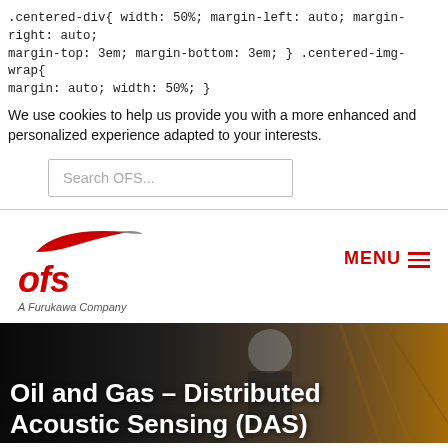.centered-div{ width: 50%; margin-left: auto; margin-right: auto; margin-top: 3em; margin-bottom: 3em; } .centered-img-wrap{ margin: auto; width: 50%; }
We use cookies to help us provide you with a more enhanced and personalized experience adapted to your interests.
[Figure (screenshot): Search input box with placeholder text 'Search OFS...']
[Figure (logo): OFS logo - red swoosh above bold red 'ofs' text, with 'A Furukawa Company' tagline below]
[Figure (screenshot): Navigation bar with OFS logo on left and MENU hamburger icon on right]
[Figure (photo): Hero image of a smiling man in hard hat and work clothes at an industrial site, with dark overlay and white text reading 'Oil and Gas - Distributed Acoustic Sensing (DAS)']
Oil and Gas - Distributed Acoustic Sensing (DAS)